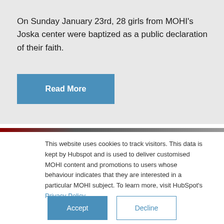On Sunday January 23rd, 28 girls from MOHI's Joska center were baptized as a public declaration of their faith.
Read More
This website uses cookies to track visitors. This data is kept by Hubspot and is used to deliver customised MOHI content and promotions to users whose behaviour indicates that they are interested in a particular MOHI subject. To learn more, visit HubSpot's Privacy Policy.
Accept
Decline